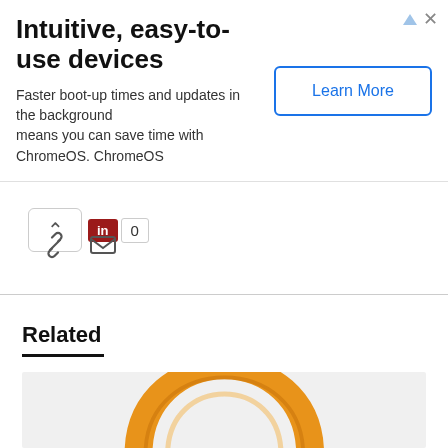[Figure (screenshot): Advertisement banner: 'Intuitive, easy-to-use devices' with text 'Faster boot-up times and updates in the background means you can save time with ChromeOS. ChromeOS' and a 'Learn More' button.]
[Figure (screenshot): Social sharing bar with upvote chevron button, LinkedIn share button, share count '0', link icon, and email icon.]
Related
[Figure (photo): Related content thumbnail showing a horseshoe magnet (orange/golden colored) on a light grey background, cropped to show the top arch of the magnet.]